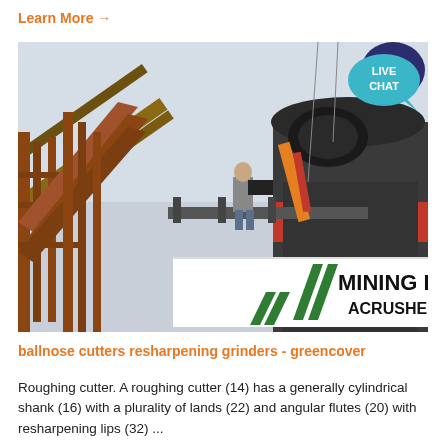Learn More →
[Figure (photo): Mining equipment site photo showing a large crusher machine with 'MINING EQUIPMENT ACRUSHER' branding and green logo, with a worker standing on elevated platform with heavy industrial conveyors in background. A 'LIVE CHAT' speech bubble overlay appears in the top-right corner.]
ballnose cutters resharpening grinders - greencover
Roughing cutter. A roughing cutter (14) has a generally cylindrical shank (16) with a plurality of lands (22) and angular flutes (20) with resharpening lips (32) ...